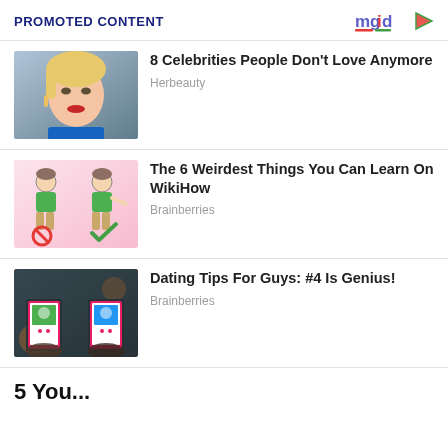PROMOTED CONTENT
[Figure (photo): Celebrity woman with blonde hair, red lips, dangling earrings - American Idol style background]
8 Celebrities People Don't Love Anymore
Herbeauty
[Figure (illustration): WikiHow style cartoon of two male figures - one with red no symbol, one with green checkmark]
The 6 Weirdest Things You Can Learn On WikiHow
Brainberries
[Figure (photo): Hands holding two smartphones with dating app showing profile photos]
Dating Tips For Guys: #4 Is Genius!
Brainberries
5 You...